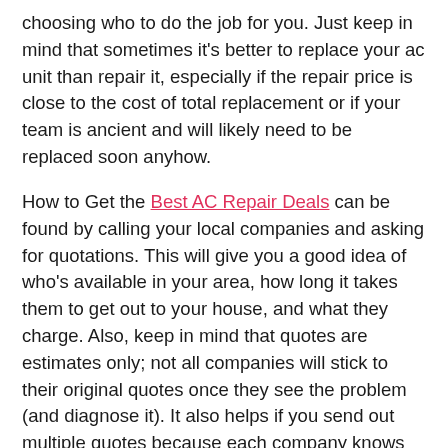choosing who to do the job for you. Just keep in mind that sometimes it's better to replace your ac unit than repair it, especially if the repair price is close to the cost of total replacement or if your team is ancient and will likely need to be replaced soon anyhow.
How to Get the Best AC Repair Deals can be found by calling your local companies and asking for quotations. This will give you a good idea of who's available in your area, how long it takes them to get out to your house, and what they charge. Also, keep in mind that quotes are estimates only; not all companies will stick to their original quotes once they see the problem (and diagnose it). It also helps if you send out multiple quotes because each company knows that someone else is giving you a quote too, which means they'll likely push themselves more challenging to win your business.
On average, most HVAC contractors make around $40-$60 per hour, but some make as little as $30-$40 per hour, while